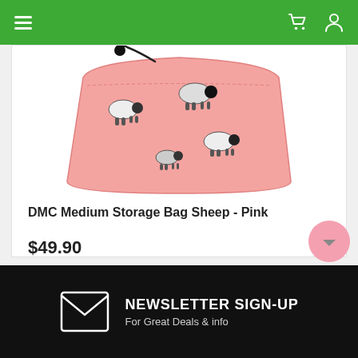Navigation bar with menu, cart, and account icons
[Figure (photo): DMC Medium Storage Bag Sheep - Pink product image, a pink zippered pouch with black and white sheep pattern and a drawstring toggle]
DMC Medium Storage Bag Sheep - Pink
$49.90
ADD TO CART  i
[Figure (other): Pink circular back-to-top button with upward chevron arrow]
NEWSLETTER SIGN-UP
For Great Deals & info